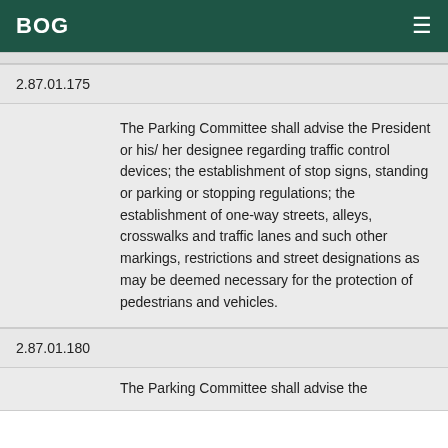BOG
2.87.01.175
The Parking Committee shall advise the President or his/ her designee regarding traffic control devices; the establishment of stop signs, standing or parking or stopping regulations; the establishment of one-way streets, alleys, crosswalks and traffic lanes and such other markings, restrictions and street designations as may be deemed necessary for the protection of pedestrians and vehicles.
2.87.01.180
The Parking Committee shall advise the